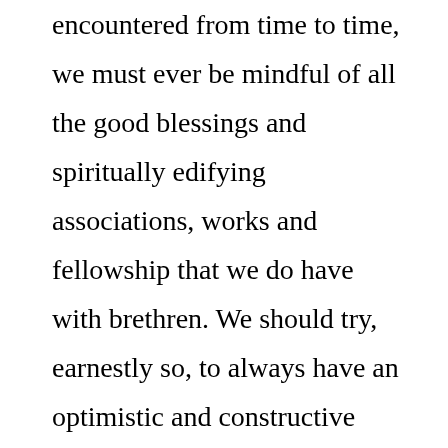encountered from time to time, we must ever be mindful of all the good blessings and spiritually edifying associations, works and fellowship that we do have with brethren. We should try, earnestly so, to always have an optimistic and constructive attitude toward our brethren, a spirit of kindness and goodwill and patience, and to really want to be helpful and improve any situation which may not be right. I do not want these letters to you to be construed as being one-sided or biased in favor of preachers. I am trying to be as